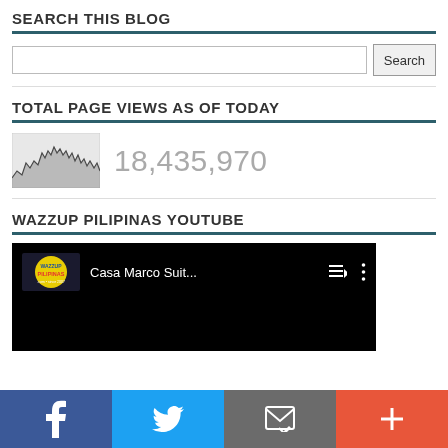SEARCH THIS BLOG
Search input with Search button
TOTAL PAGE VIEWS AS OF TODAY
[Figure (area-chart): Small area/line chart showing page view history, gray filled area with jagged line]
18,435,970
WAZZUP PILIPINAS YOUTUBE
[Figure (screenshot): YouTube embed showing Wazzup Pilipinas channel with video title 'Casa Marco Suit...' on black background with playlist and menu icons]
Social bar with Facebook, Twitter, Email, and Plus icons